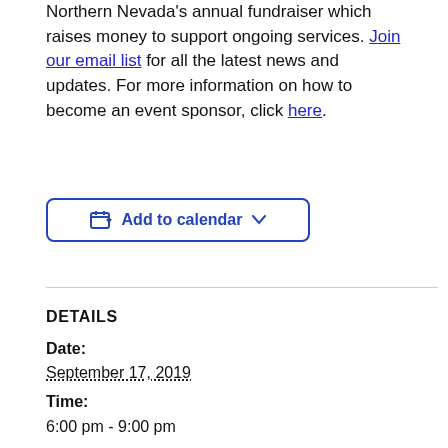Northern Nevada's annual fundraiser which raises money to support ongoing services. Join our email list for all the latest news and updates. For more information on how to become an event sponsor, click here.
[Figure (other): Add to calendar button with calendar icon and dropdown chevron]
DETAILS
Date:
September 17, 2019
Time:
6:00 pm - 9:00 pm